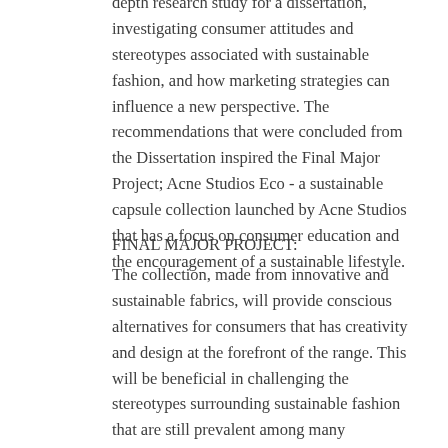A keen interest in environmental awareness provoked an in-depth research study for a dissertation, investigating consumer attitudes and stereotypes associated with sustainable fashion, and how marketing strategies can influence a new perspective. The recommendations that were concluded from the Dissertation inspired the Final Major Project; Acne Studios Eco - a sustainable capsule collection launched by Acne Studios that has a focus on consumer education and the encouragement of a sustainable lifestyle.
FINAL MAJOR PROJECT:
The collection, made from innovative and sustainable fabrics, will provide conscious alternatives for consumers that has creativity and design at the forefront of the range. This will be beneficial in challenging the stereotypes surrounding sustainable fashion that are still prevalent among many consumers. Launching the range with Acne Studios will demonstrate that design can remain at the forefront of eco-friendly fashion and that sacrifices in design or quality do not need to be made for the sake of an environmental benefit. It will also fulfil the need for more